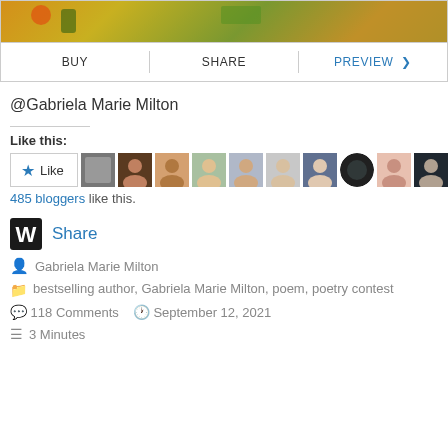[Figure (photo): Partial cropped image of colorful artwork at top]
BUY | SHARE | PREVIEW >
@Gabriela Marie Milton
Like this:
[Figure (screenshot): Like button with star icon and 9 blogger avatar images]
485 bloggers like this.
Share
Gabriela Marie Milton
bestselling author, Gabriela Marie Milton, poem, poetry contest
118 Comments   September 12, 2021
3 Minutes